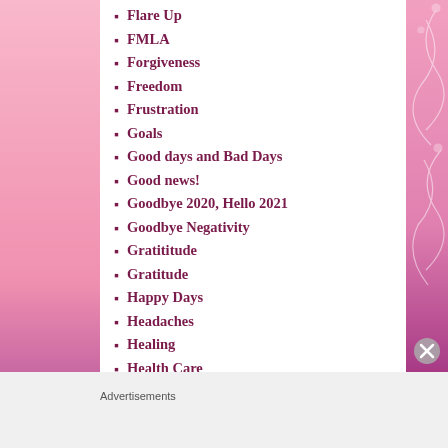Flare Up
FMLA
Forgiveness
Freedom
Frustration
Goals
Good days and Bad Days
Good news!
Goodbye 2020, Hello 2021
Goodbye Negativity
Gratititude
Gratitude
Happy Days
Headaches
Healing
Health Care
Health concerns
Advertisements